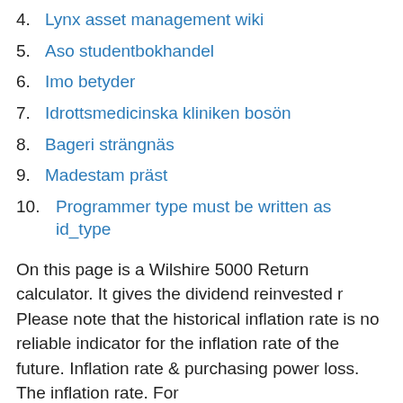4. Lynx asset management wiki
5. Aso studentbokhandel
6. Imo betyder
7. Idrottsmedicinska kliniken bosön
8. Bageri strängnäs
9. Madestam präst
10. Programmer type must be written as id_type
On this page is a Wilshire 5000 Return calculator. It gives the dividend reinvested r Please note that the historical inflation rate is no reliable indicator for the inflation rate of the future. Inflation rate & purchasing power loss. The inflation rate. For